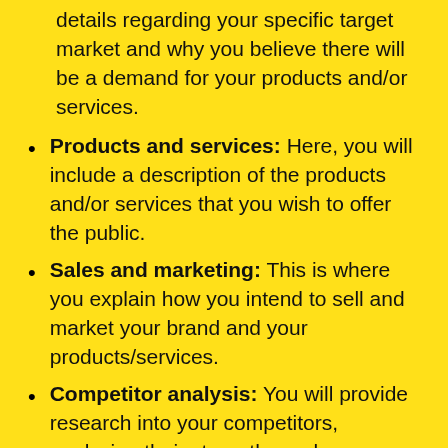details regarding your specific target market and why you believe there will be a demand for your products and/or services.
Products and services: Here, you will include a description of the products and/or services that you wish to offer the public.
Sales and marketing: This is where you explain how you intend to sell and market your brand and your products/services.
Competitor analysis: You will provide research into your competitors, analysing their strengths and weaknesses, and why you believe you will be able to create a competitive ‘edge’.
Management team: Here, you will supply background information regarding all of the key players involved in your business.
Financial plan: The financial plan is arguably the